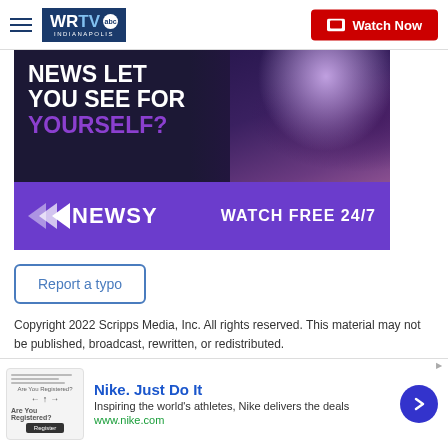WRTV INDIANAPOLIS | Watch Now
[Figure (screenshot): Newsy advertisement banner showing 'NEWS LET YOU SEE FOR YOURSELF?' in white and purple text with basketball player image, and purple bottom bar with Newsy logo and 'WATCH FREE 24/7']
Report a typo
Copyright 2022 Scripps Media, Inc. All rights reserved. This material may not be published, broadcast, rewritten, or redistributed.
[Figure (screenshot): Partial panel with blue top border and CLOSE button]
[Figure (screenshot): Nike advertisement bar: 'Nike. Just Do It' — Inspiring the world's athletes, Nike delivers the deals — www.nike.com]